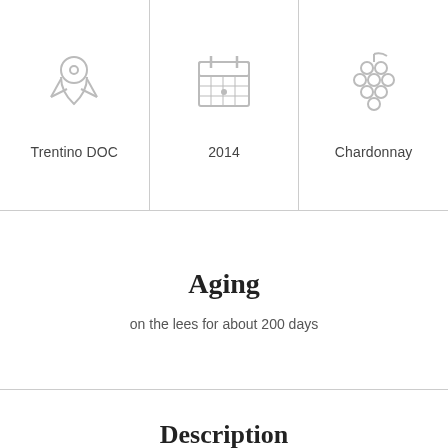[Figure (infographic): Three-column grid with icons and labels: location pin icon (Trentino DOC), calendar icon (2014), grape cluster icon (Chardonnay)]
Aging
on the lees for about 200 days
Description